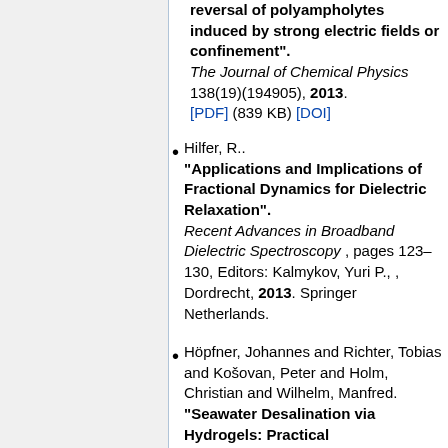reversal of polyampholytes induced by strong electric fields or confinement". The Journal of Chemical Physics 138(19)(194905), 2013. [PDF] (839 KB) [DOI]
Hilfer, R.. "Applications and Implications of Fractional Dynamics for Dielectric Relaxation". Recent Advances in Broadband Dielectric Spectroscopy, pages 123–130, Editors: Kalmykov, Yuri P., , Dordrecht, 2013. Springer Netherlands.
Höpfner, Johannes and Richter, Tobias and Košovan, Peter and Holm, Christian and Wilhelm, Manfred. "Seawater Desalination via Hydrogels: Practical